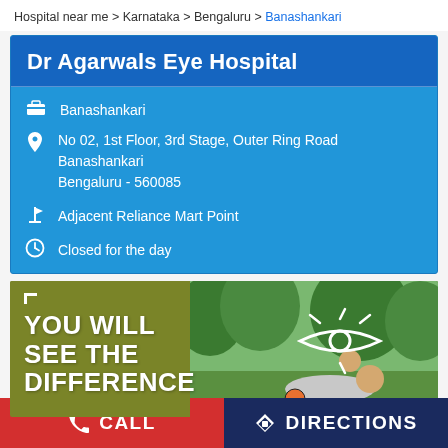Hospital near me > Karnataka > Bengaluru > Banashankari
Dr Agarwals Eye Hospital
Banashankari
No 02, 1st Floor, 3rd Stage, Outer Ring Road Banashankari Bengaluru - 560085
Adjacent Reliance Mart Point
Closed for the day
[Figure (infographic): Banner ad for Dr Agarwals Eye Hospital showing text 'YOU WILL SEE THE DIFFERENCE' on olive/dark yellow background with a photo of an elderly man and child playing with a soccer ball outdoors, with a white eye-shaped logo overlay]
CALL
DIRECTIONS